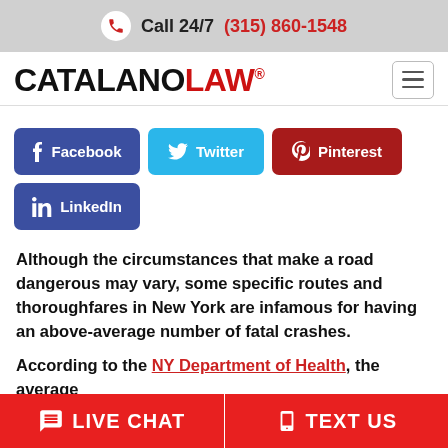Call 24/7  (315) 860-1548
[Figure (logo): CATALANOLAW logo with hamburger menu icon]
[Figure (infographic): Social share buttons: Facebook, Twitter, Pinterest, LinkedIn]
Although the circumstances that make a road dangerous may vary, some specific routes and thoroughfares in New York are infamous for having an above-average number of fatal crashes.
According to the NY Department of Health, the average
LIVE CHAT   TEXT US